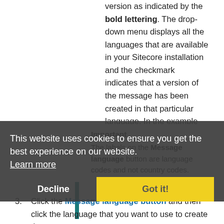version as indicated by the bold lettering. The drop-down menu displays all the languages that are available in your Sitecore installation and the checkmark indicates that a version of the message has been created in that particular language. In the example above, a version of the message has been created in both English and French.
Important
The labels on the Message language button are language codes and not country codes.
3. Click the Message language button and then click the language that you want to use to create the message.
This website uses cookies to ensure you get the best experience on our website. Learn more